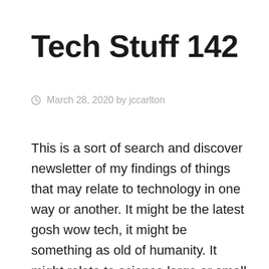Tech Stuff 142
March 28, 2020 by jccarlton
This is a sort of search and discover newsletter of my findings of things that may relate to technology in one way or another. It might be the latest gosh wow tech, it might be something as old of humanity. It might relate to science large or small. It might be art for art's sake. Or somebody just doing something funky. Because I think that technology is just the representation of human creativity and